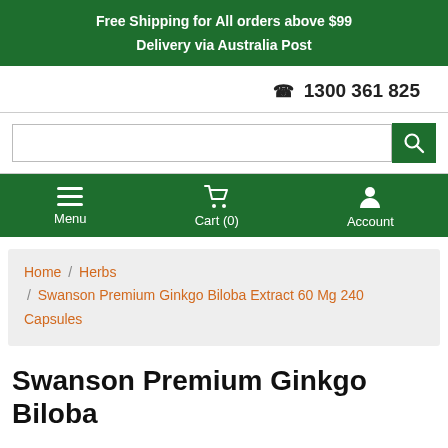Free Shipping for All orders above $99
Delivery via Australia Post
☎ 1300 361 825
[Figure (screenshot): Search input field with green search button]
Menu  Cart (0)  Account
Home / Herbs / Swanson Premium Ginkgo Biloba Extract 60 Mg 240 Capsules
Swanson Premium Ginkgo Biloba